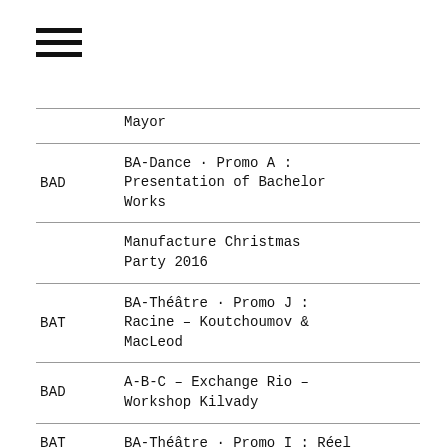[Figure (other): Hamburger menu icon with three horizontal bars]
| Code | Description |
| --- | --- |
|  | Mayor |
| BAD | BA-Dance · Promo A : Presentation of Bachelor Works |
|  | Manufacture Christmas Party 2016 |
| BAT | BA-Théâtre · Promo J : Racine – Koutchoumov & MacLeod |
| BAD | A-B-C – Exchange Rio – Workshop Kilvady |
| BAT MAT | BA-Théâtre · Promo I : Réel du plateau – Gremaud |
|  | Manufacture – Heidi Boutique |